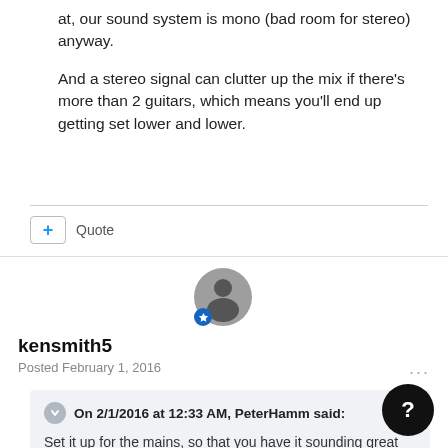at, our sound system is mono (bad room for stereo) anyway.
And a stereo signal can clutter up the mix if there's more than 2 guitars, which means you'll end up getting set lower and lower.
Quote
kensmith5
Posted February 1, 2016
On 2/1/2016 at 12:33 AM, PeterHamm said:
Set it up for the mains, so that you have it sounding great for the audience.
If it's not perfect for you, that's okay, they're the ones